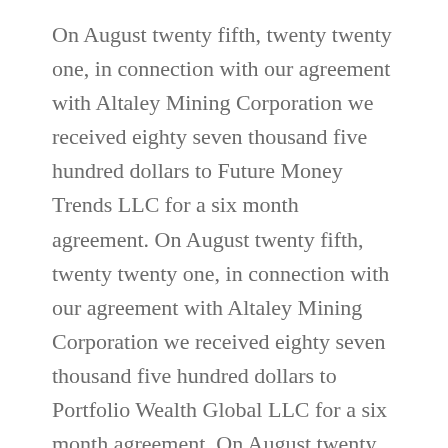On August twenty fifth, twenty twenty one, in connection with our agreement with Altaley Mining Corporation we received eighty seven thousand five hundred dollars to Future Money Trends LLC for a six month agreement. On August twenty fifth, twenty twenty one, in connection with our agreement with Altaley Mining Corporation we received eighty seven thousand five hundred dollars to Portfolio Wealth Global LLC for a six month agreement. On August twenty fifth, twenty twenty one, in connection with our agreement with Altaley Mining Corporation we received eighty seven thousand five hundred dollars to Wealth Research Group LLC for a six month agreement. On August twenty fifth, twenty twenty one, in connection with our agreement with Altaley